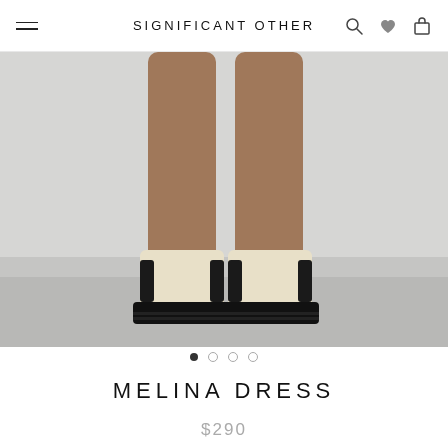SIGNIFICANT OTHER
[Figure (photo): Close-up of a model's legs wearing cream/ivory Chelsea boots with black chunky soles, standing on a grey floor against a light grey background.]
MELINA DRESS
$290